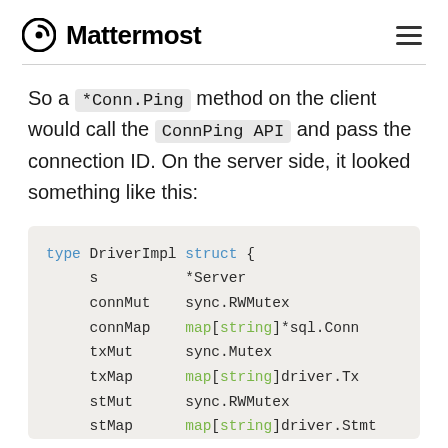Mattermost
So a *Conn.Ping method on the client would call the ConnPing API and pass the connection ID. On the server side, it looked something like this:
[Figure (screenshot): Go code block showing DriverImpl struct definition with fields: s *Server, connMut sync.RWMutex, connMap map[string]*sql.Conn, txMut sync.Mutex, txMap map[string]driver.Tx, stMut sync.RWMutex, stMap map[string]driver.Stmt]